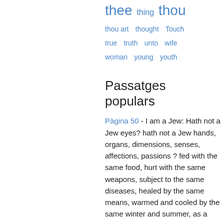thee   thing   thou   thou art   thought   Touch   true   truth   unto   wife   woman   young   youth
Passatges populars
Pàgina 50 - I am a Jew: Hath not a Jew eyes? hath not a Jew hands, organs, dimensions, senses, affections, passions ? fed with the same food, hurt with the same weapons, subject to the same diseases, healed by the same means, warmed and cooled by the same winter and summer, as a